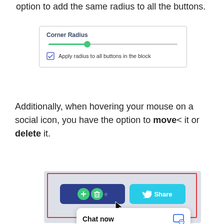option to add the same radius to all the buttons.
[Figure (screenshot): Corner Radius UI panel showing a slider with green thumb and a checked checkbox labeled 'Apply radius to all buttons in the block']
Additionally, when hovering your mouse on a social icon, you have the option to move< it or delete it.
[Figure (screenshot): Screenshot showing two buttons: a dark blue button with move and delete icons, and a cyan Twitter Share button. A cursor arrow is hovering over the delete icon. A chat widget overlay shows 'Chat now' with a chat icon.]